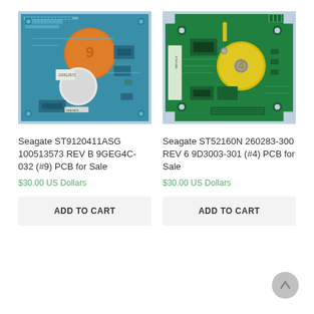[Figure (photo): Photo of Seagate ST9120411ASG PCB circuit board (blue/teal), with orange circular sticker labeled #9, white circular component in center, various electronic components visible.]
Seagate ST9120411ASG 100513573 REV B 9GEG4C-032 (#9) PCB for Sale
$30.00 US Dollars
ADD TO CART
[Figure (photo): Photo of Seagate ST52160N 260283-300 REV 6 9D3003-301 PCB circuit board (green), with yellow circular sticker labeled #4, various electronic components and connectors visible.]
Seagate ST52160N 260283-300 REV 6 9D3003-301 (#4) PCB for Sale
$30.00 US Dollars
ADD TO CART